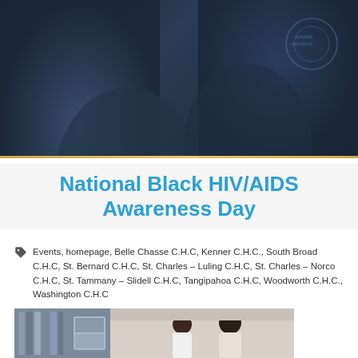[Figure (photo): Hero banner photo showing people at a health event, dark blue overlay with shadowed figures]
National Black HIV/AIDS Awareness Day
Events, homepage, Belle Chasse C.H.C, Kenner C.H.C., South Broad C.H.C, St. Bernard C.H.C, St. Charles – Luling C.H.C, St. Charles – Norco C.H.C, St. Tammany – Slidell C.H.C, Tangipahoa C.H.C, Woodworth C.H.C., Washington C.H.C
[Figure (photo): Photo of people at a health resource center or community health event, woman in white shirt smiling, bookshelves visible in background]